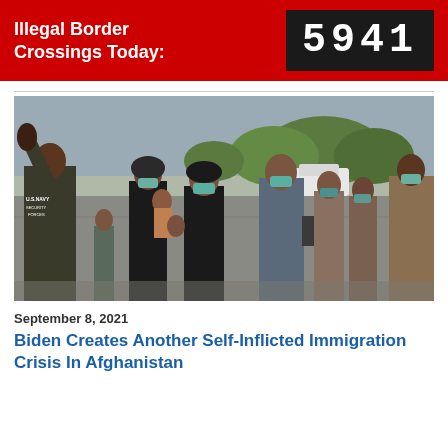Illegal Border Crossings Today: 5941
[Figure (photo): A U.S. Navy security forces personnel in tactical vest waves hand while a group of Afghan evacuees wearing face masks walk across a tarmac, with trees and a white vehicle visible in the background.]
September 8, 2021
Biden Creates Another Self-Inflicted Immigration Crisis In Afghanistan
Article snippet text beginning...